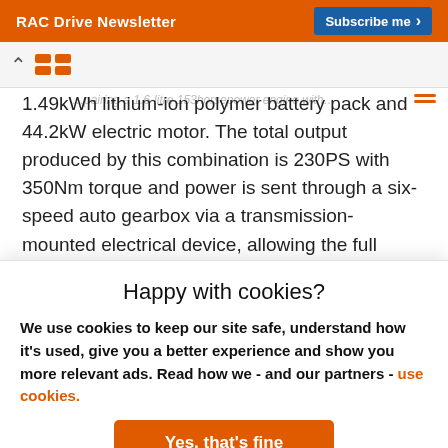RAC Drive Newsletter | Subscribe me
1.49kWh lithium-ion polymer battery pack and 44.2kW electric motor. The total output produced by this combination is 230PS with 350Nm torque and power is sent through a six-speed auto gearbox via a transmission-mounted electrical device, allowing the full power of the engine and motor to be transferred in parallel with minimal loss of energy. The result is...
Happy with cookies?
We use cookies to keep our site safe, understand how it's used, give you a better experience and show you more relevant ads. Read how we - and our partners - use cookies.
Yes, that's fine
No, manage cookies